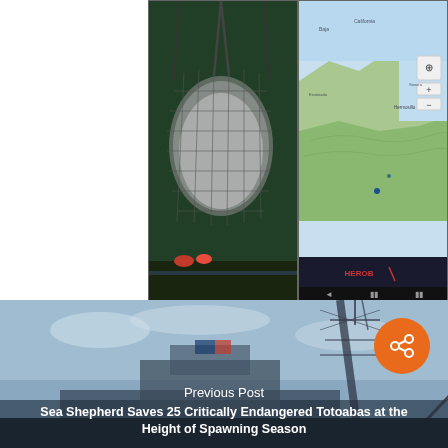[Figure (photo): Two images side by side: left shows a fishing net full of fish being hauled on a boat; right shows a map interface (HEROB/AIS vessel tracking) with terrain view.]
[Figure (photo): Ship silhouette against a pale sky with communication tower/mast visible, forming the background of a Previous Post navigation block.]
Previous Post
Sea Shepherd Saves 25 Critically Endangered Totoabas at the Height of Spawning Season